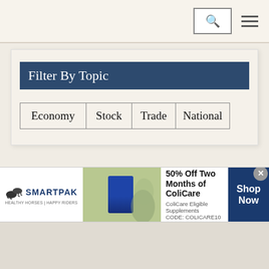Navigation header with search and menu icons
Filter By Topic
Economy
Stock
Trade
National
[Figure (screenshot): Empty content panel below the filter box]
[Figure (infographic): SmartPak advertisement banner: 50% Off Two Months of ColiCare, ColiCare Eligible Supplements, CODE: COLICARE10, Shop Now button]